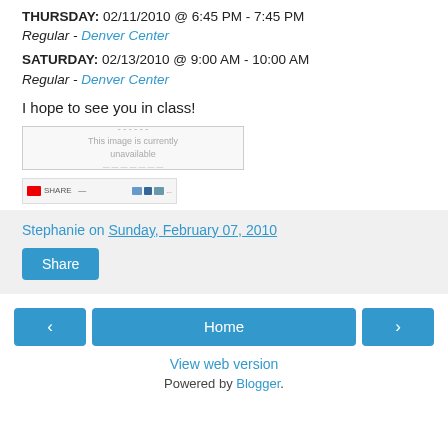THURSDAY: 02/11/2010 @ 6:45 PM - 7:45 PM
Regular - Denver Center
SATURDAY: 02/13/2010 @ 9:00 AM - 10:00 AM
Regular - Denver Center
I hope to see you in class!
[Figure (screenshot): Broken image placeholder showing unavailable image]
[Figure (screenshot): Toolbar/widget with share buttons and social media icons]
Stephanie on Sunday, February 07, 2010
Share
Home
View web version
Powered by Blogger.